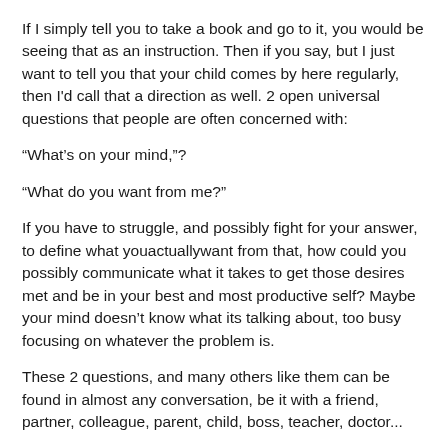If I simply tell you to take a book and go to it, you would be seeing that as an instruction. Then if you say, but I just want to tell you that your child comes by here regularly, then I'd call that a direction as well. 2 open universal questions that people are often concerned with:
“What’s on your mind,”?
“What do you want from me?”
If you have to struggle, and possibly fight for your answer, to define what youactuallywant from that, how could you possibly communicate what it takes to get those desires met and be in your best and most productive self? Maybe your mind doesn’t know what its talking about, too busy focusing on whatever the problem is.
These 2 questions, and many others like them can be found in almost any conversation, be it with a friend, partner, colleague, parent, child, boss, teacher, doctor...